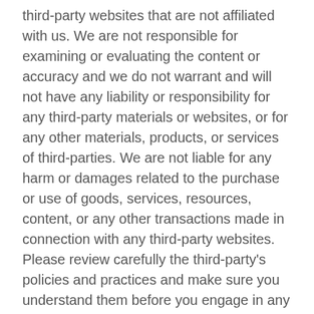third-party websites that are not affiliated with us. We are not responsible for examining or evaluating the content or accuracy and we do not warrant and will not have any liability or responsibility for any third-party materials or websites, or for any other materials, products, or services of third-parties. We are not liable for any harm or damages related to the purchase or use of goods, services, resources, content, or any other transactions made in connection with any third-party websites. Please review carefully the third-party's policies and practices and make sure you understand them before you engage in any transaction. Complaints, claims, concerns, or questions regarding third-party products should be directed to the third-party.
SECTION 9 - USER COMMENTS, FEEDBACK AND